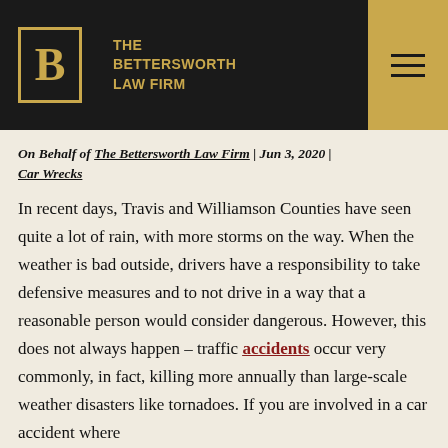THE BETTERSWORTH LAW FIRM
On Behalf of The Bettersworth Law Firm | Jun 3, 2020 | Car Wrecks
In recent days, Travis and Williamson Counties have seen quite a lot of rain, with more storms on the way. When the weather is bad outside, drivers have a responsibility to take defensive measures and to not drive in a way that a reasonable person would consider dangerous. However, this does not always happen – traffic accidents occur very commonly, in fact, killing more annually than large-scale weather disasters like tornadoes. If you are involved in a car accident where